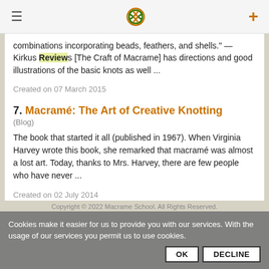≡  [Macrame School Logo]  +
combinations incorporating beads, feathers, and shells." — Kirkus Reviews [The Craft of Macrame] has directions and good illustrations of the basic knots as well ...
Created on 07 March 2015
7. Macramé: The Art of Creative Knotting
(Blog)
The book that started it all (published in 1967). When Virginia Harvey wrote this book, she remarked that macramé was almost a lost art. Today, thanks to Mrs. Harvey, there are few people who have never ...
Created on 02 July 2014
Copyright © 2022 Macrame School. All Rights Reserved.
Cookies make it easier for us to provide you with our services. With the usage of our services you permit us to use cookies.